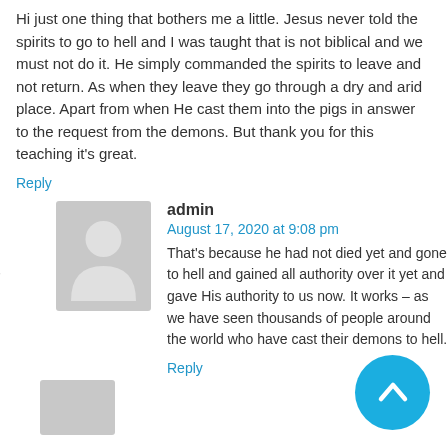Hi just one thing that bothers me a little. Jesus never told the spirits to go to hell and I was taught that is not biblical and we must not do it. He simply commanded the spirits to leave and not return. As when they leave they go through a dry and arid place. Apart from when He cast them into the pigs in answer to the request from the demons. But thank you for this teaching it's great.
Reply
[Figure (illustration): Grey avatar placeholder image showing silhouette of a person]
admin
August 17, 2020 at 9:08 pm
That's because he had not died yet and gone to hell and gained all authority over it yet and gave His authority to us now. It works – as we have seen thousands of people around the world who have cast their demons to hell.
Reply
[Figure (illustration): Grey avatar placeholder image at bottom, partially visible]